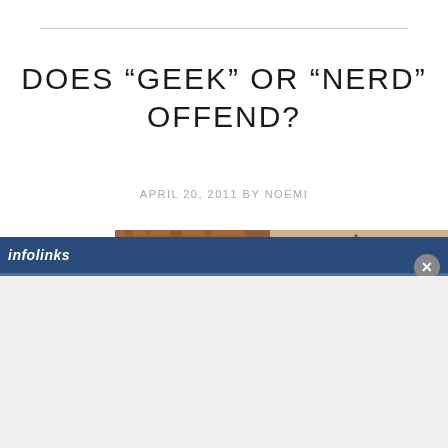DOES “GEEK” OR “NERD” OFFEND?
APRIL 20, 2011 BY NOEMI
[Figure (photo): A young man in a red t-shirt with mouth open, appearing excited or yelling, with decorative metalwork visible in the background. Screenshot from a TV show (The Big Bang Theory).]
infolinks